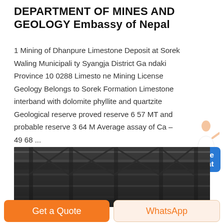DEPARTMENT OF MINES AND GEOLOGY Embassy of Nepal
1 Mining of Dhanpure Limestone Deposit at Sorek Waling Municipali ty Syangja District Ga ndaki Province 10 0288 Limesto ne Mining License Geology Belongs to Sorek Formation Limestone interband with dolomite phyllite and quartzite Geological reserve proved reserve 6 57 MT and probable reserve 3 64 M Average assay of Ca – 49 68 ...
[Figure (photo): Industrial interior photograph showing steel structure/truss ceiling of a mining or industrial facility, dark tones.]
Get a Quote
WhatsApp